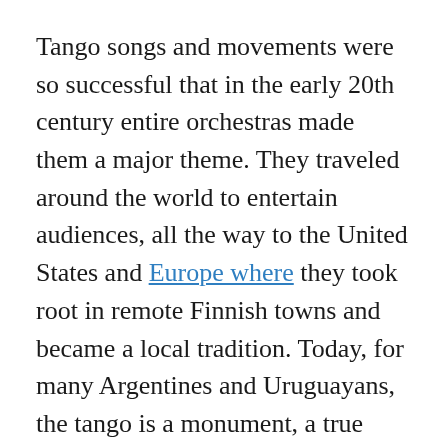Tango songs and movements were so successful that in the early 20th century entire orchestras made them a major theme. They traveled around the world to entertain audiences, all the way to the United States and Europe where they took root in remote Finnish towns and became a local tradition. Today, for many Argentines and Uruguayans, the tango is a monument, a true pride in an established musical expression that was listed as an Intangible Cultural Heritage of Humanity in 2009. However, it is also worth mentioning how tango has evolved in the modern era thanks to several musical enterprises such as the Gotan Project and Bajo Fondo Tango Club,